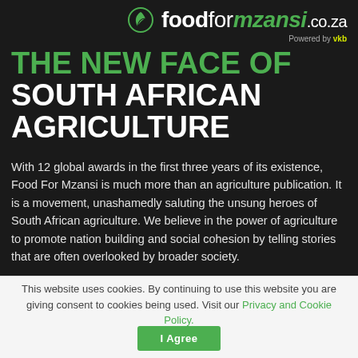foodformzansi.co.za Powered by vkb
THE NEW FACE OF SOUTH AFRICAN AGRICULTURE
With 12 global awards in the first three years of its existence, Food For Mzansi is much more than an agriculture publication. It is a movement, unashamedly saluting the unsung heroes of South African agriculture. We believe in the power of agriculture to promote nation building and social cohesion by telling stories that are often overlooked by broader society.
This website uses cookies. By continuing to use this website you are giving consent to cookies being used. Visit our Privacy and Cookie Policy. I Agree